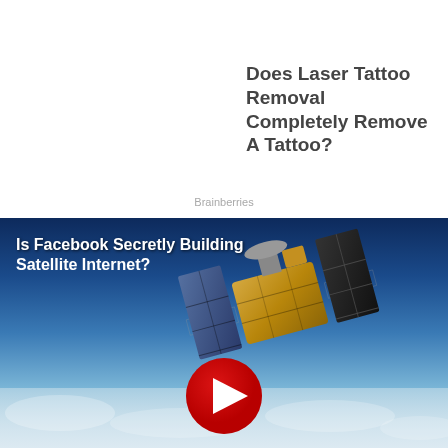Does Laser Tattoo Removal Completely Remove A Tattoo?
Brainberries
[Figure (screenshot): Video thumbnail showing a satellite in orbit above Earth with text 'Is Facebook Secretly Building Satellite Internet?' and a red YouTube-style play button in the center.]